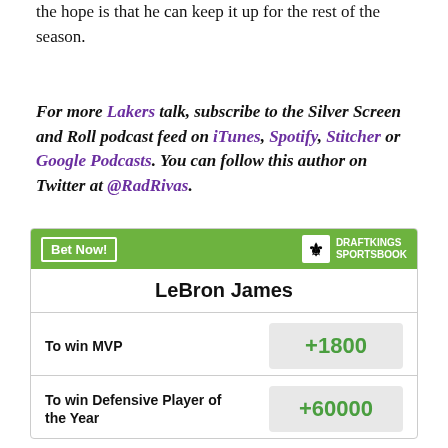the hope is that he can keep it up for the rest of the season.
For more Lakers talk, subscribe to the Silver Screen and Roll podcast feed on iTunes, Spotify, Stitcher or Google Podcasts. You can follow this author on Twitter at @RadRivas.
| LeBron James |  |
| --- | --- |
| To win MVP | +1800 |
| To win Defensive Player of the Year | +60000 |